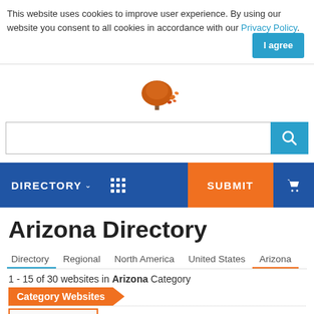This website uses cookies to improve user experience. By using our website you consent to all cookies in accordance with our Privacy Policy. I agree
[Figure (illustration): Autumn tree logo with orange falling leaves]
[Figure (screenshot): Search bar with teal search button]
[Figure (screenshot): Navigation bar with DIRECTORY dropdown, grid icon, SUBMIT button (orange), and cart icon on blue background]
Arizona Directory
Directory   Regional   North America   United States   Arizona
1 - 15 of 30 websites in Arizona Category
Category Websites
[Figure (screenshot): Partial listing card with orange border showing Arizona directory entry thumbnail]